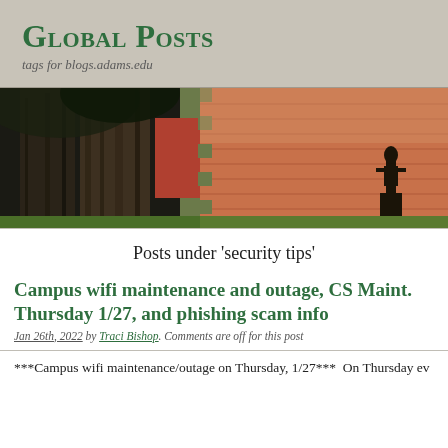Global Posts
tags for blogs.adams.edu
[Figure (photo): Campus photo showing large tree trunks on the left with brick building and a silhouette statue on the right]
Posts under 'security tips'
Campus wifi maintenance and outage, CS Maint. Thursday 1/27, and phishing scam info
Jan 26th, 2022 by Traci Bishop. Comments are off for this post
***Campus wifi maintenance/outage on Thursday, 1/27***  On Thursday ev